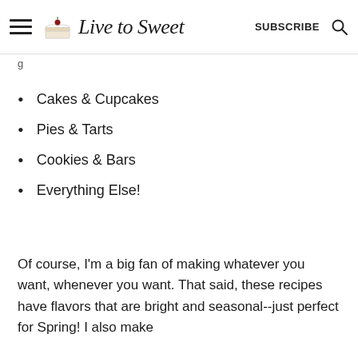Live to Sweet — SUBSCRIBE
Cakes & Cupcakes
Pies & Tarts
Cookies & Bars
Everything Else!
Of course, I'm a big fan of making whatever you want, whenever you want. That said, these recipes have flavors that are bright and seasonal--just perfect for Spring! I also make